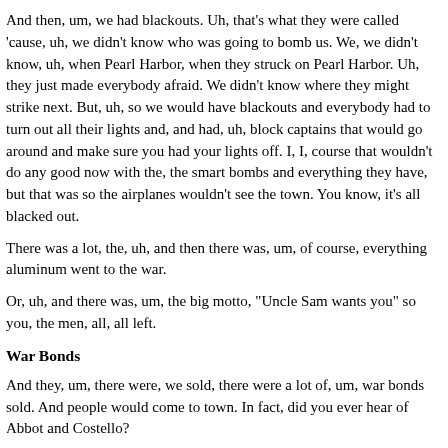And then, um, we had blackouts. Uh, that's what they were called 'cause, uh, we didn't know who was going to bomb us. We, we didn't know, uh, when Pearl Harbor, when they struck on Pearl Harbor. Uh, they just made everybody afraid. We didn't know where they might strike next. But, uh, so we would have blackouts and everybody had to turn out all their lights and, and had, uh, block captains that would go around and make sure you had your lights off. I, I, course that wouldn't do any good now with the, the smart bombs and everything they have, but that was so the airplanes wouldn't see the town. You know, it's all blacked out.
There was a lot, the, uh, and then there was, um, of course, everything aluminum went to the war.
Or, uh, and there was, um, the big motto, "Uncle Sam wants you" so you, the men, all, all left.
War Bonds
And they, um, there were, we sold, there were a lot of, um, war bonds sold. And people would come to town. In fact, did you ever hear of Abbot and Costello?